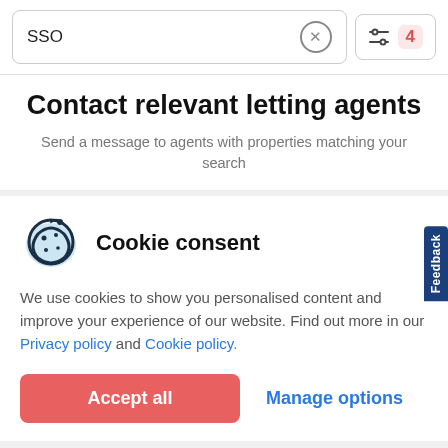SSO
Contact relevant letting agents
Send a message to agents with properties matching your search
Cookie consent
We use cookies to show you personalised content and improve your experience of our website. Find out more in our Privacy policy and Cookie policy.
Accept all
Manage options